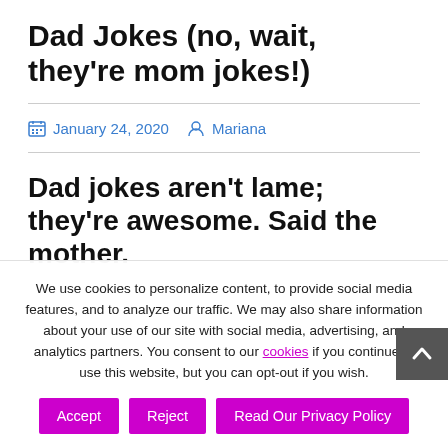Dad Jokes (no, wait, they're mom jokes!)
January 24, 2020   Mariana
Dad jokes aren't lame; they're awesome. Said the mother.
We use cookies to personalize content, to provide social media features, and to analyze our traffic. We may also share information about your use of our site with social media, advertising, and analytics partners. You consent to our cookies if you continue to use this website, but you can opt-out if you wish.
Accept | Reject | Read Our Privacy Policy